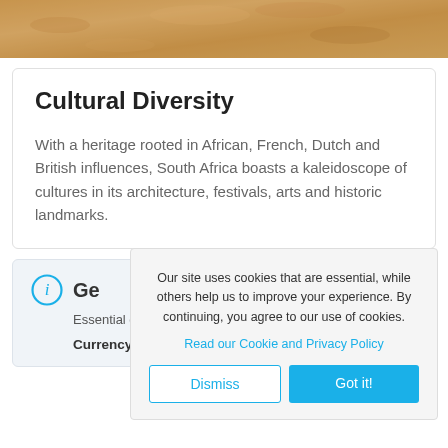[Figure (photo): Sandy/earthy textured surface photo cropped at top of page]
Cultural Diversity
With a heritage rooted in African, French, Dutch and British influences, South Africa boasts a kaleidoscope of cultures in its architecture, festivals, arts and historic landmarks.
Our site uses cookies that are essential, while others help us to improve your experience. By continuing, you agree to our use of cookies.
Read our Cookie and Privacy Policy
Dismiss
Got it!
General Information
Essential details you need to know before your trip
Currency    Rand (ZAR)